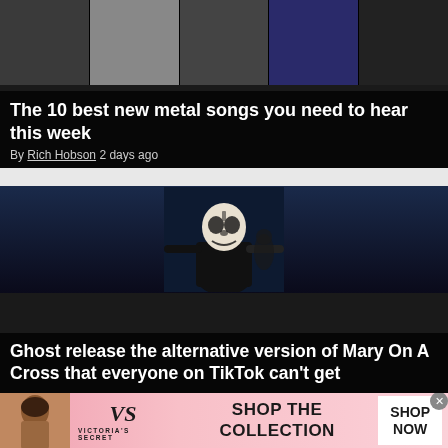[Figure (photo): Strip of 5 metal artist portrait photos in dark tones]
The 10 best new metal songs you need to hear this week
By Rich Hobson 2 days ago
[Figure (photo): Ghost band performer on stage wearing skull face paint and black outfit, arms outstretched, dark blue stage lighting]
Ghost release the alternative version of Mary On A Cross that everyone on TikTok can't get
[Figure (photo): Victoria's Secret advertisement banner with model, VS logo, and SHOP THE COLLECTION / SHOP NOW text]